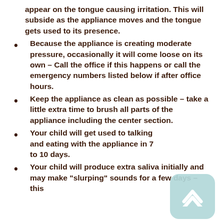appear on the tongue causing irritation. This will subside as the appliance moves and the tongue gets used to its presence.
Because the appliance is creating moderate pressure, occasionally it will come loose on its own – Call the office if this happens or call the emergency numbers listed below if after office hours.
Keep the appliance as clean as possible – take a little extra time to brush all parts of the appliance including the center section.
Your child will get used to talking and eating with the appliance in 7 to 10 days.
Your child will produce extra saliva initially and may make "slurping" sounds for a few days – this will also subside.